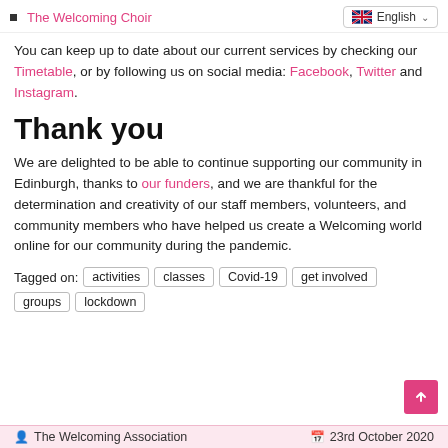The Welcoming Choir | English
You can keep up to date about our current services by checking our Timetable, or by following us on social media: Facebook, Twitter and Instagram.
Thank you
We are delighted to be able to continue supporting our community in Edinburgh, thanks to our funders, and we are thankful for the determination and creativity of our staff members, volunteers, and community members who have helped us create a Welcoming world online for our community during the pandemic.
Tagged on: activities  classes  Covid-19  get involved  groups  lockdown
The Welcoming Association  23rd October 2020